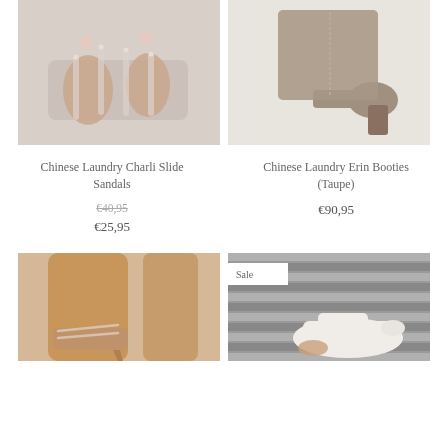[Figure (photo): Close-up of hands holding transparent/clear slide sandals with rhinestone embellishments]
[Figure (photo): Taupe suede block-heel ankle booties on a person wearing a white outfit]
Chinese Laundry Charli Slide Sandals
€40,95
€25,95
Chinese Laundry Erin Booties (Taupe)
€90,95
[Figure (photo): Person wearing nude/clear strappy heeled sandals, close-up of legs and feet on beige background]
[Figure (photo): White mule slides held against a grey slatted background, with a Sale badge]